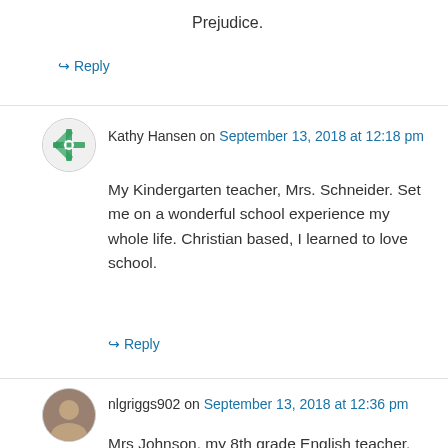Prejudice.
↳ Reply
Kathy Hansen on September 13, 2018 at 12:18 pm
My Kindergarten teacher, Mrs. Schneider. Set me on a wonderful school experience my whole life. Christian based, I learned to love school.
↳ Reply
nlgriggs902 on September 13, 2018 at 12:36 pm
Mrs Johnson, my 8th grade English teacher. She taught so well and really loved what she did. She was the perfect Christian example in a public